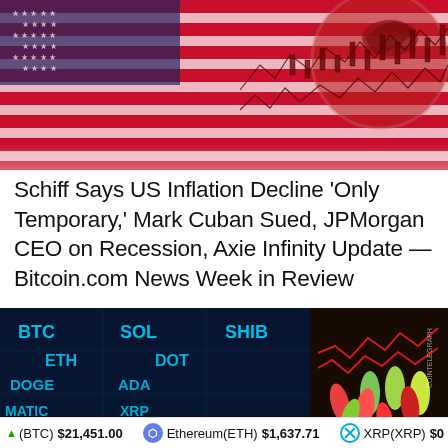[Figure (photo): American flag with red candlestick chart overlay and eagle coin imagery on right side, tinted red]
Schiff Says US Inflation Decline ‘Only Temporary,’ Mark Cuban Sued, JPMorgan CEO on Recession, Axie Infinity Update — Bitcoin.com News Week in Review
[Figure (photo): Blue digital display board showing cryptocurrency ticker symbols: BTC, ETH, DOGE, SOL, DOT, ADA, XRP, MATIC, SHIB, with bowling pins and red/green chart overlay on right side]
▲(BTC) $21,451.00    Ethereum(ETH) $1,637.71    XRP(XRP) $0...